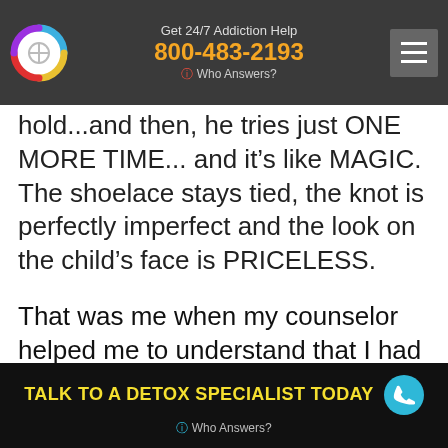Get 24/7 Addiction Help 800-483-2193 Who Answers?
hold...and then, he tries just ONE MORE TIME... and it's like MAGIC. The shoelace stays tied, the knot is perfectly imperfect and the look on the child’s face is PRICELESS.
That was me when my counselor helped me to understand that I had faced MANY challenges early on in my life and that these challenges had created a deep sense of depression and anxiety for me that required treatment. I never got the treatment–I had been attempting to self-
TALK TO A DETOX SPECIALIST TODAY | Who Answers?